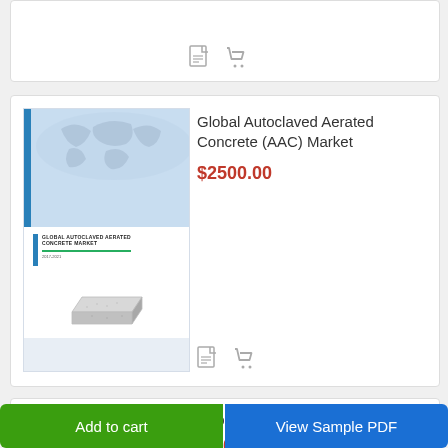[Figure (screenshot): Partial product listing card at top showing PDF and cart icons]
[Figure (screenshot): Product card for Global Autoclaved Aerated Concrete (AAC) Market report showing cover image with world map, blue bar, report title, concrete block photo]
Global Autoclaved Aerated Concrete (AAC) Market
$2500.00
[Figure (screenshot): Partial product card for Global Concrete Fibers Market with world map cover image]
Global Concrete Fibers Market
$2500.00
Add to cart
View Sample PDF